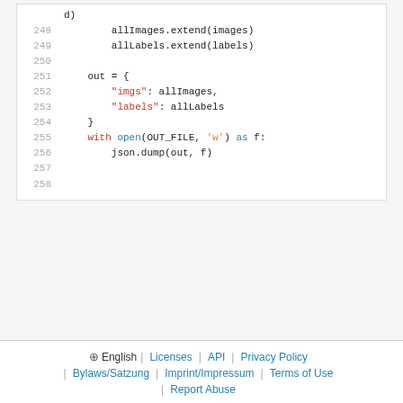Code block lines 248-258: allImages.extend(images), allLabels.extend(labels), out = { "imgs": allImages, "labels": allLabels }, with open(OUT_FILE, 'w') as f: json.dump(out, f)
⊕ English | Licenses | API | Privacy Policy | Bylaws/Satzung | Imprint/Impressum | Terms of Use | Report Abuse